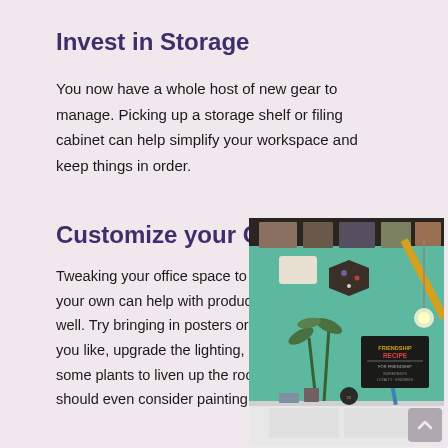Invest in Storage
You now have a whole host of new gear to manage. Picking up a storage shelf or filing cabinet can help simplify your workspace and keep things in order.
Customize your Office
[Figure (photo): Interior photo of a personalized home office with mint green walls, posters, a hexagonal corkboard, a plant, a pendant light bulb, and a white desk with a lamp and a 'Friendship Recipe' sign.]
Tweaking your office space to make it your own can help with productivity as well. Try bringing in posters or paintings you like, upgrade the lighting, or add some plants to liven up the room. You should even consider painting your new